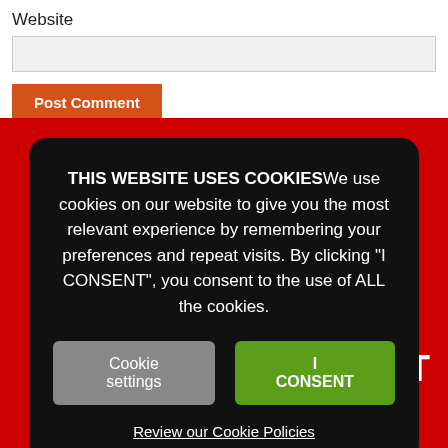Website
[Figure (screenshot): Empty text input field for website URL]
Post Comment
THIS WEBSITE USES COOKIES We use cookies on our website to give you the most relevant experience by remembering your preferences and repeat visits. By clicking "I CONSENT", you consent to the use of ALL the cookies.
Cookie settings
I CONSENT
Review our Cookie Policies